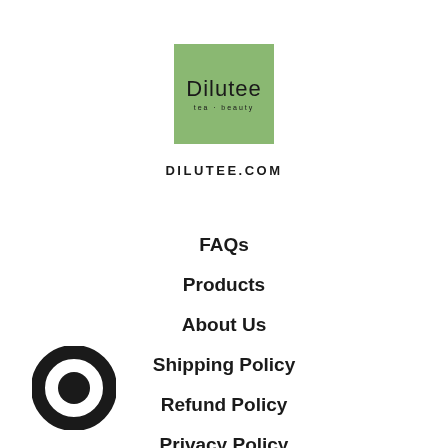[Figure (logo): Dilutee logo: green square background with 'Dilutee' text in dark color and small tagline below]
DILUTEE.COM
FAQs
Products
About Us
Shipping Policy
Refund Policy
Privacy Policy
Terms Of Service
[Figure (illustration): Dark circular chat bubble icon in bottom left corner]